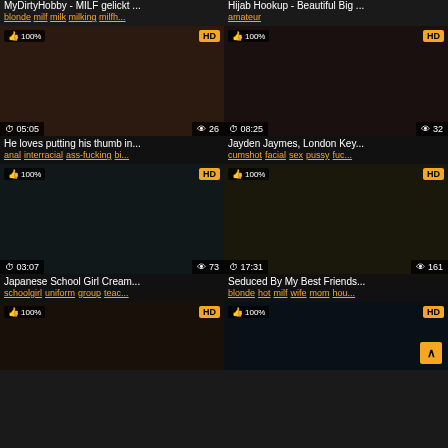MyDirtyHobby - MILF gelickt ...
blonde milf milk milking milfh...
Hijab Hookup - Beautiful Big ...
amateur
[Figure (screenshot): Video thumbnail - dark close-up scene, 05:05 duration, 26 views, 100% rating, HD]
He loves putting his thumb in...
anal interracial ass-fucking bi...
[Figure (screenshot): Video thumbnail - adult scene, 08:25 duration, 32 views, 100% rating, HD]
Jayden Jaymes, London Key...
cumshot facial sex pussy fuc...
[Figure (screenshot): Video thumbnail - Japanese scene, 03:07 duration, 73 views, 100% rating, HD]
Japanese School Girl Cream...
schoolgirl uniform group teac...
[Figure (screenshot): Video thumbnail - blonde scene, 17:31 duration, 161 views, 100% rating, HD]
Seduced By My Best Friends...
blonde hot milf wife mom hou...
[Figure (screenshot): Video thumbnail - partial view, 100% rating, HD]
[Figure (screenshot): Video thumbnail - partial view, 100% rating, HD]